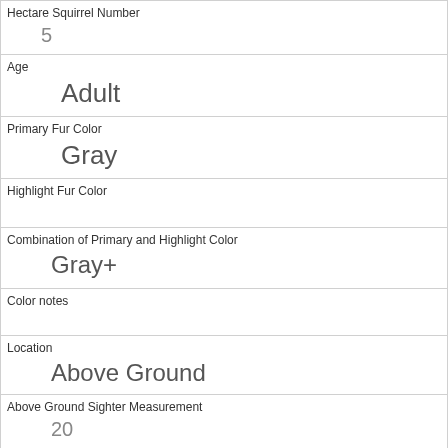| Hectare Squirrel Number | 5 |
| Age | Adult |
| Primary Fur Color | Gray |
| Highlight Fur Color |  |
| Combination of Primary and Highlight Color | Gray+ |
| Color notes |  |
| Location | Above Ground |
| Above Ground Sighter Measurement | 20 |
| Specific Location |  |
| Running | 0 |
| Chasing |  |